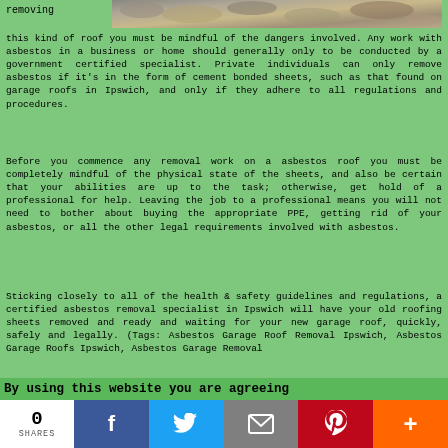[Figure (photo): Photo of asbestos/stone roof material, upper right portion of page]
removing
this kind of roof you must be mindful of the dangers involved. Any work with asbestos in a business or home should generally only to be conducted by a government certified specialist. Private individuals can only remove asbestos if it's in the form of cement bonded sheets, such as that found on garage roofs in Ipswich, and only if they adhere to all regulations and procedures.
Before you commence any removal work on a asbestos roof you must be completely mindful of the physical state of the sheets, and also be certain that your abilities are up to the task; otherwise, get hold of a professional for help. Leaving the job to a professional means you will not need to bother about buying the appropriate PPE, getting rid of your asbestos, or all the other legal requirements involved with asbestos.
Sticking closely to all of the health & safety guidelines and regulations, a certified asbestos removal specialist in Ipswich will have your old roofing sheets removed and ready and waiting for your new garage roof, quickly, safely and legally. (Tags: Asbestos Garage Roof Removal Ipswich, Asbestos Garage Roofs Ipswich, Asbestos Garage Removal
By using this website you are agreeing
0
SHARES